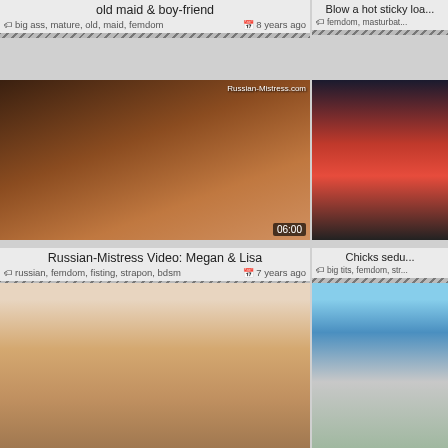old maid & boy-friend
big ass, mature, old, maid, femdom  8 years ago
[Figure (screenshot): Video thumbnail showing high heels on stairs, brick wall background. Watermark: Russian-Mistress.com. Duration: 06:00]
Russian-Mistress Video: Megan & Lisa
russian, femdom, fisting, strapon, bdsm  7 years ago
Blow a hot sticky loa...
femdom, masturbat...
[Figure (screenshot): Video thumbnail showing blonde woman in red lingerie]
Chicks sedu...
big tits, femdom, str...
[Figure (screenshot): Video thumbnail showing woman in red shirt and man lying down]
[Figure (screenshot): Video thumbnail showing outdoor scene with balustrade and water feature]